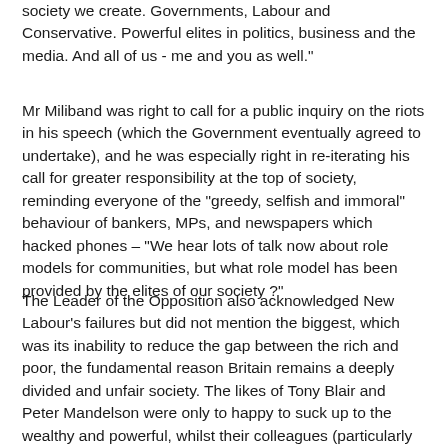society we create. Governments, Labour and Conservative. Powerful elites in politics, business and the media. And all of us - me and you as well."
Mr Miliband was right to call for a public inquiry on the riots in his speech (which the Government eventually agreed to undertake), and he was especially right in re-iterating his call for greater responsibility at the top of society, reminding everyone of the "greedy, selfish and immoral" behaviour of bankers, MPs, and newspapers which hacked phones – "We hear lots of talk now about role models for communities, but what role model has been provided by the elites of our society ?"
The Leader of the Opposition also acknowledged New Labour's failures but did not mention the biggest, which was its inability to reduce the gap between the rich and poor, the fundamental reason Britain remains a deeply divided and unfair society. The likes of Tony Blair and Peter Mandelson were only to happy to suck up to the wealthy and powerful, whilst their colleagues (particularly David Blunkett and Dr John Reid) were only too happy to suck up to the right-wing press with "tough" rhetoric on law and order. It was a betr...